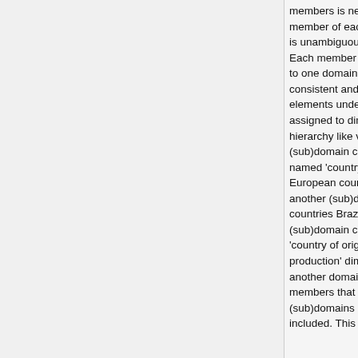members is needed to be referred to, where each member of each dimension applicable for MKR SA EQU is unambiguously defined.
Each member must be created only once and allocated to one domain. The members must be created consistent and without doubling of logically same elements under different labels. The domains can be assigned to dimensions. Suppose we created the full hierarchy like visualised in Figure 7, we could assign a (sub)domain called 'European countries' to a dimension named 'country of market'. In this domain all the European countries would be listed. Also there could be another (sub)domain called 'BRIC' containing the countries Brazil, Russia, China and India. This BRIC (sub)domain could be assigned to two dimensions, the 'country of origin' dimension and the 'country of production' dimension. Last but not least we could build another domain called 'all countries' where all the members that are already assigned to other (sub)domains as well as remaining countries are included. This